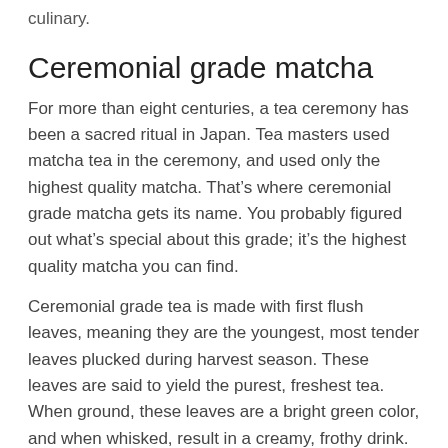culinary.
Ceremonial grade matcha
For more than eight centuries, a tea ceremony has been a sacred ritual in Japan. Tea masters used matcha tea in the ceremony, and used only the highest quality matcha. That’s where ceremonial grade matcha gets its name. You probably figured out what’s special about this grade; it’s the highest quality matcha you can find.
Ceremonial grade tea is made with first flush leaves, meaning they are the youngest, most tender leaves plucked during harvest season. These leaves are said to yield the purest, freshest tea. When ground, these leaves are a bright green color, and when whisked, result in a creamy, frothy drink.